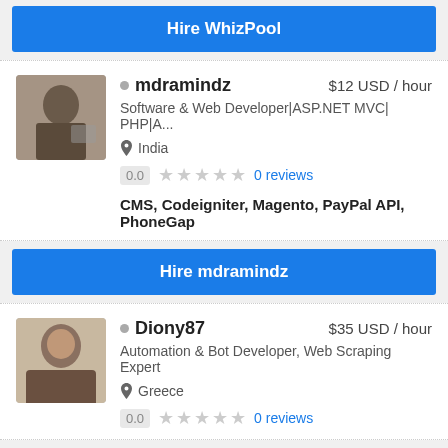[Figure (other): Blue 'Hire WhizPool' button at top]
[Figure (photo): Profile photo of mdramindz, person at computer]
mdramindz  $12 USD / hour
Software & Web Developer|ASP.NET MVC| PHP|A...
India
0.0 ★★★★★ 0 reviews
CMS, Codeigniter, Magento, PayPal API, PhoneGap
[Figure (other): Blue 'Hire mdramindz' button]
[Figure (photo): Profile photo of Diony87, man facing camera]
Diony87  $35 USD / hour
Automation & Bot Developer, Web Scraping Expert
Greece
0.0 ★★★★★ 0 reviews